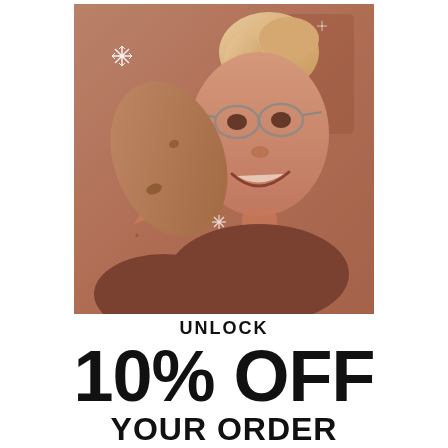[Figure (photo): Sepia-toned photo of a smiling woman with glasses holding up a large potato toward the camera, with snowflake decorations overlaid on the image]
UNLOCK 10% OFF YOUR ORDER
Check email for discounts